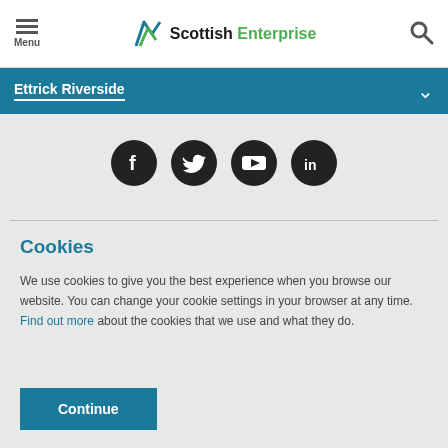Menu | Scottish Enterprise | Search
Ettrick Riverside
[Figure (illustration): Social media icons: Facebook, Twitter, YouTube, LinkedIn in dark circular buttons]
Cookies
We use cookies to give you the best experience when you browse our website. You can change your cookie settings in your browser at any time. Find out more about the cookies that we use and what they do.
Continue